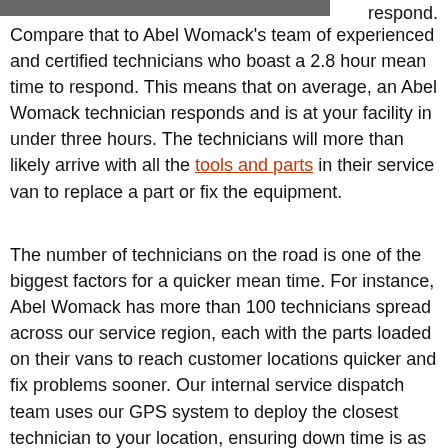respond.
Compare that to Abel Womack’s team of experienced and certified technicians who boast a 2.8 hour mean time to respond. This means that on average, an Abel Womack technician responds and is at your facility in under three hours. The technicians will more than likely arrive with all the tools and parts in their service van to replace a part or fix the equipment.
The number of technicians on the road is one of the biggest factors for a quicker mean time. For instance, Abel Womack has more than 100 technicians spread across our service region, each with the parts loaded on their vans to reach customer locations quicker and fix problems sooner. Our internal service dispatch team uses our GPS system to deploy the closest technician to your location, ensuring down time is as short as possible.